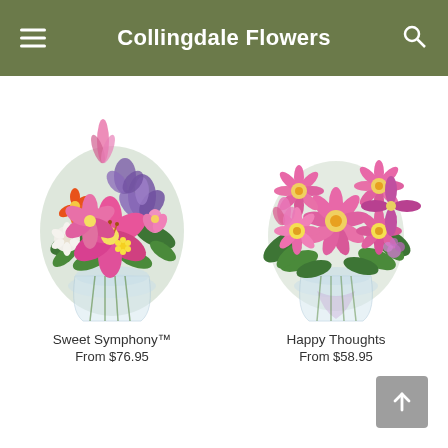Collingdale Flowers
[Figure (photo): Flower bouquet in a round glass vase. Mixed pink lilies, purple iris, white alstroemeria, and yellow flowers. Sweet Symphony product photo.]
Sweet Symphony™
From $76.95
[Figure (photo): Flower bouquet in a round glass vase. Pink daisies and chrysanthemums with green foliage and lavender ribbon. Happy Thoughts product photo.]
Happy Thoughts
From $58.95